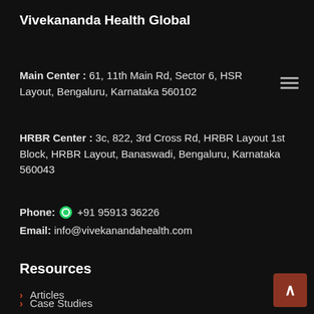Vivekananda Health Global
Main Center : 61, 11th Main Rd, Sector 6, HSR Layout, Bengaluru, Karnataka 560102
HRBR Center : 3c, 822, 3rd Cross Rd, HRBR Layout 1st Block, HRBR Layout, Banaswadi, Bengaluru, Karnataka 560043
Phone: +91 95913 36226
Email: info@vivekanandahealth.com
Resources
Articles
Case Studies
About Us
Terms Of Services